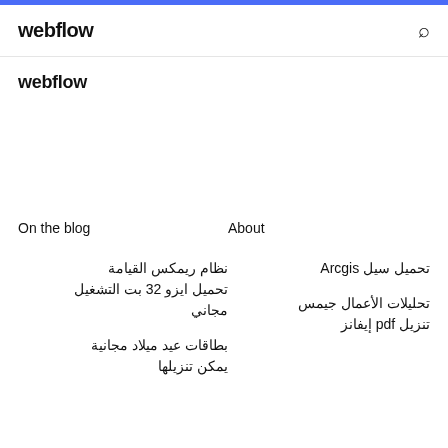webflow
webflow
On the blog
About
نظام ريمكس القيامة تحميل ايزو 32 بت التشغيل مجاني
بطاقات عيد ميلاد مجانية يمكن تنزيلها
تحميل سيل Arcgis
تحليلات الأعمال جيمس تنزيل pdf إيفانز